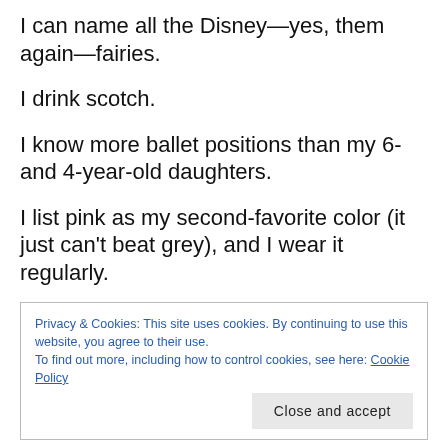I can name all the Disney—yes, them again—fairies.
I drink scotch.
I know more ballet positions than my 6- and 4-year-old daughters.
I list pink as my second-favorite color (it just can't beat grey), and I wear it regularly.
Privacy & Cookies: This site uses cookies. By continuing to use this website, you agree to their use.
To find out more, including how to control cookies, see here: Cookie Policy
Close and accept